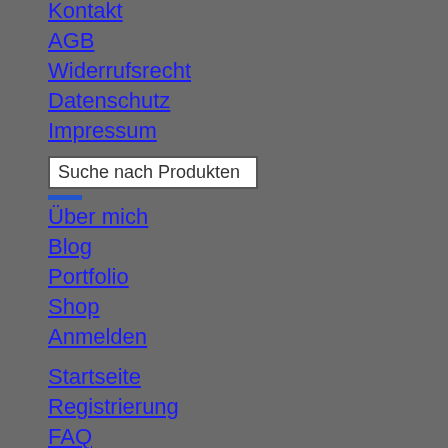Kontakt
AGB
Widerrufsrecht
Datenschutz
Impressum
Suche nach Produkten
Über mich
Blog
Portfolio
Shop
Anmelden
Startseite
Registrierung
FAQ
Kontakt
AGB
Widerrufsrecht
Datenschutz
Impressum